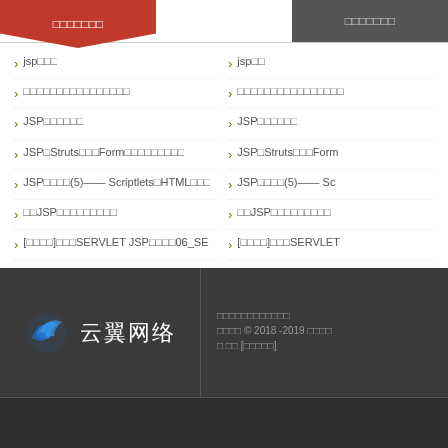□□□□□□□ | □□□□□□□
> jsp□□□
> □□□□□□□□□□□□□□□□
> JSP□□□□□□
> JSP□Struts□□□Form□□□□□□□□□
> JSP□□□□(5)—— Scriptlets□HTML□□□
> □□JSP□□□□□□□□□
> [□□□□]□□□SERVLET JSP□□□□06_SE
> jsp□□
> □□□□□□□□□□□□□□□□
> JSP□□□□□□
> JSP□Struts□□□Form
> JSP□□□□(5)—— Sc
> □□JSP□□□□□□□□□
> [□□□□]□□□SERVLET
[Figure (logo): Cloud wing network logo with stylized blue wing icon and Chinese text 云翼网络]
□□□□□□□□□□□□ □□□□ © 2018 -2019 □□□□ □ □□ [□□□□□]